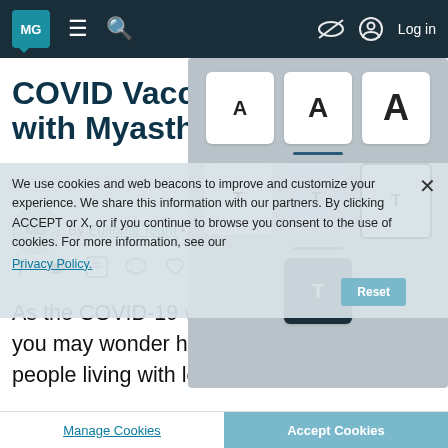MG | ≡ 🔍 [eye-slash icon] Log in
COVID Vaccine with Myasther
[Figure (screenshot): Font size accessibility popup with A buttons in small/medium/large sizes, T buttons in normal/grey/outlined styles, and a dark T button at the bottom]
By Editorial Team •
[Figure (infographic): Social share icons: Facebook, Twitter, comment bubble, heart, 0 count]
We use cookies and web beacons to improve and customize your experience. We share this information with our partners. By clicking ACCEPT or X, or if you continue to browse you consent to the use of cookies. For more information, see our Privacy Policy.
As the COVID-19 vaccine rollout continues, you may wonder how the vaccine affects people living with long-term illnesses like